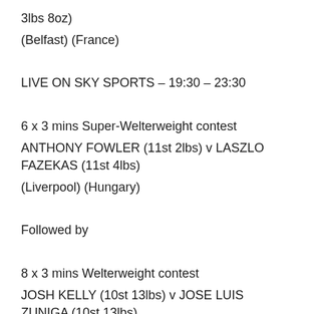3lbs 8oz)
(Belfast) (France)
LIVE ON SKY SPORTS – 19:30 – 23:30
6 x 3 mins Super-Welterweight contest
ANTHONY FOWLER (11st 2lbs) v LASZLO FAZEKAS (11st 4lbs)
(Liverpool) (Hungary)
Followed by
8 x 3 mins Welterweight contest
JOSH KELLY (10st 13lbs) v JOSE LUIS ZUNIGA (10st 13lbs)
(Sunderland) (Mexico)